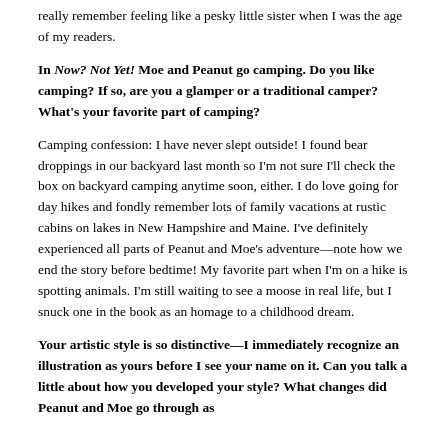really remember feeling like a pesky little sister when I was the age of my readers.
In Now? Not Yet! Moe and Peanut go camping. Do you like camping? If so, are you a glamper or a traditional camper? What's your favorite part of camping?
Camping confession: I have never slept outside! I found bear droppings in our backyard last month so I'm not sure I'll check the box on backyard camping anytime soon, either. I do love going for day hikes and fondly remember lots of family vacations at rustic cabins on lakes in New Hampshire and Maine. I've definitely experienced all parts of Peanut and Moe's adventure—note how we end the story before bedtime! My favorite part when I'm on a hike is spotting animals. I'm still waiting to see a moose in real life, but I snuck one in the book as an homage to a childhood dream.
Your artistic style is so distinctive—I immediately recognize an illustration as yours before I see your name on it. Can you talk a little about how you developed your style? What changes did Peanut and Moe go through as